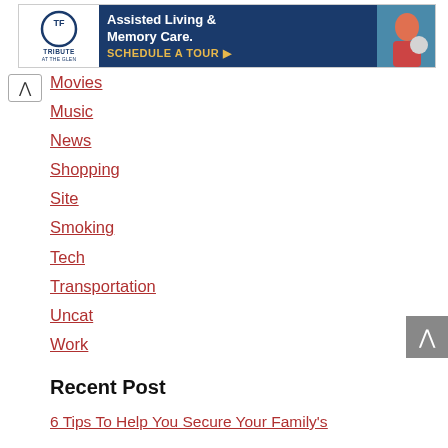[Figure (other): Advertisement banner for Tribute at the Glen - Assisted Living & Memory Care with Schedule A Tour button]
Movies
Music
News
Shopping
Site
Smoking
Tech
Transportation
Uncat
Work
Recent Post
6 Tips To Help You Secure Your Family's